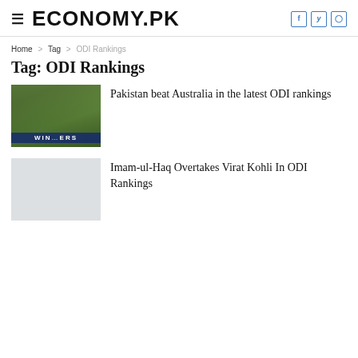ECONOMY.PK
Home > Tag > ODI Rankings
Tag: ODI Rankings
[Figure (photo): Cricket team photo with WINNERS banner at bottom]
Pakistan beat Australia in the latest ODI rankings
[Figure (photo): Blank/placeholder image thumbnail]
Imam-ul-Haq Overtakes Virat Kohli In ODI Rankings